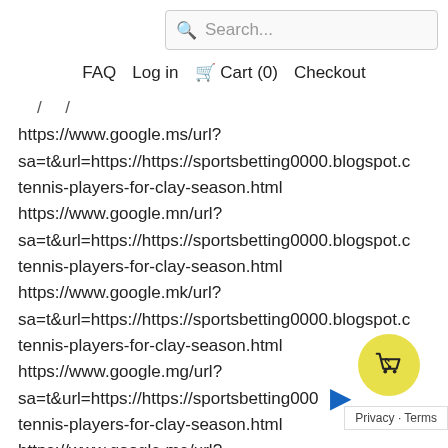[Figure (screenshot): Search bar with magnifying glass icon and placeholder text 'Search...']
FAQ   Log in   Cart (0)   Checkout
https://www.google.ms/url?
sa=t&url=https://https://sportsbetting0000.blogspot.c
tennis-players-for-clay-season.html
https://www.google.mn/url?
sa=t&url=https://https://sportsbetting0000.blogspot.c
tennis-players-for-clay-season.html
https://www.google.mk/url?
sa=t&url=https://https://sportsbetting0000.blogspot.c
tennis-players-for-clay-season.html
https://www.google.mg/url?
sa=t&url=https://https://sportsbetting0000.blogspot.c
tennis-players-for-clay-season.html
https://www.google.me/url?